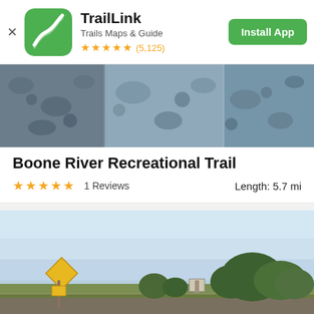[Figure (logo): TrailLink app logo - green square with white winding path]
TrailLink
Trails Maps & Guide
★★★★★ (5,125)
Install App
[Figure (photo): Trail header photo showing stones and water close-up texture]
Boone River Recreational Trail
★★★★★   1 Reviews   Length: 5.7 mi
[Figure (photo): Trail photo showing open field with yellow diamond warning sign, green trees in background, and blue sky]